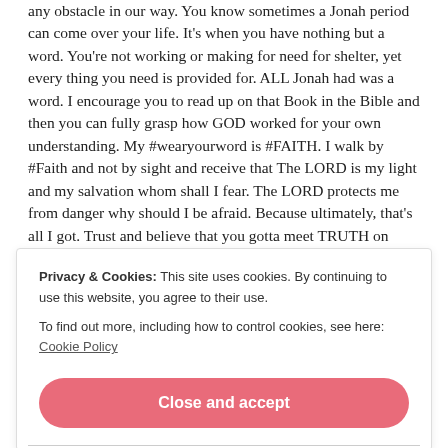any obstacle in our way. You know sometimes a Jonah period can come over your life. It's when you have nothing but a word. You're not working or making for need for shelter, yet every thing you need is provided for. ALL Jonah had was a word. I encourage you to read up on that Book in the Bible and then you can fully grasp how GOD worked for your own understanding. My #wearyourword is #FAITH. I walk by #Faith and not by sight and receive that The LORD is my light and my salvation whom shall I fear. The LORD protects me from danger why should I be afraid. Because ultimately, that's all I got. Trust and believe that you gotta meet TRUTH on your waking up or meeting up with The TRUE Big Guy. #uh-
Privacy & Cookies: This site uses cookies. By continuing to use this website, you agree to their use.
To find out more, including how to control cookies, see here: Cookie Policy
Close and accept